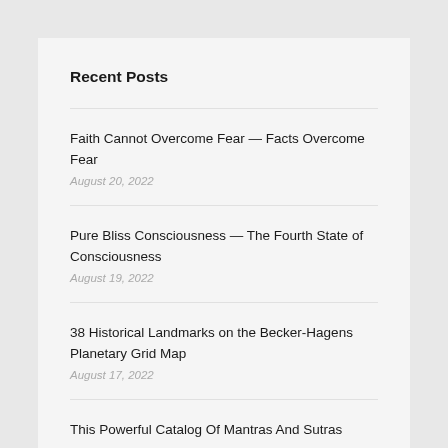Recent Posts
Faith Cannot Overcome Fear — Facts Overcome Fear
August 20, 2022
Pure Bliss Consciousness — The Fourth State of Consciousness
August 19, 2022
38 Historical Landmarks on the Becker-Hagens Planetary Grid Map
August 17, 2022
This Powerful Catalog Of Mantras And Sutras